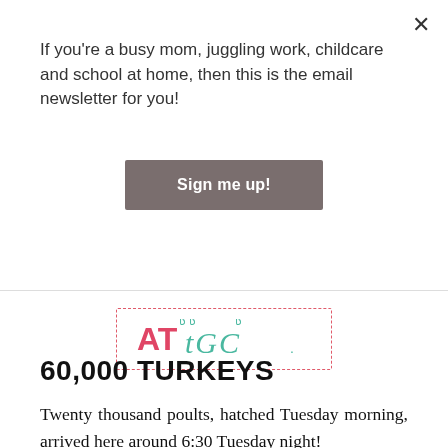If you're a busy mom, juggling work, childcare and school at home, then this is the email newsletter for you!
Sign me up!
[Figure (logo): AT TGC logo with pink elephant/bear letters and teal TGC text inside a dashed pink border]
60,000 TURKEYS
Twenty thousand poults, hatched Tuesday morning, arrived here around 6:30 Tuesday night!
Add that to the 18,000ish that will go to market next week, and the 19,000ish that are about 8 weeks old, and we have almost 60,000 turkeys